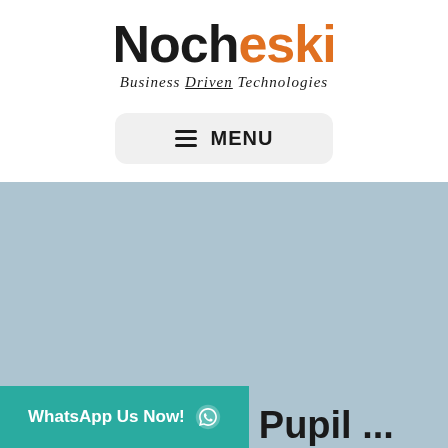[Figure (logo): Nocheski Business Driven Technologies logo. 'Noch' in black bold, 'eski' in orange bold large font, tagline 'Business Driven Technologies' in italic serif below.]
≡ MENU
[Figure (photo): Light blue/steel blue background section, large content area placeholder.]
WhatsApp Us Now! 📱
Pupil ...